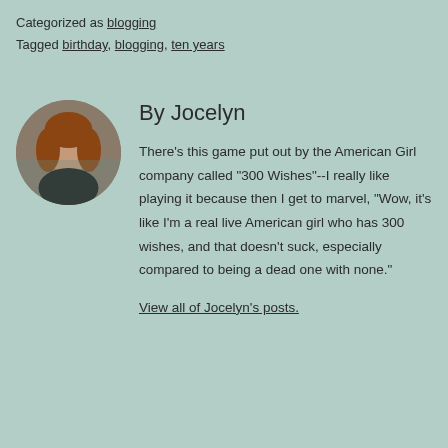Categorized as blogging
Tagged birthday, blogging, ten years
[Figure (photo): Circular profile photo of Jocelyn, a woman with reddish-brown hair against a blurred background.]
By Jocelyn
There's this game put out by the American Girl company called "300 Wishes"--I really like playing it because then I get to marvel, "Wow, it's like I'm a real live American girl who has 300 wishes, and that doesn't suck, especially compared to being a dead one with none."
View all of Jocelyn's posts.